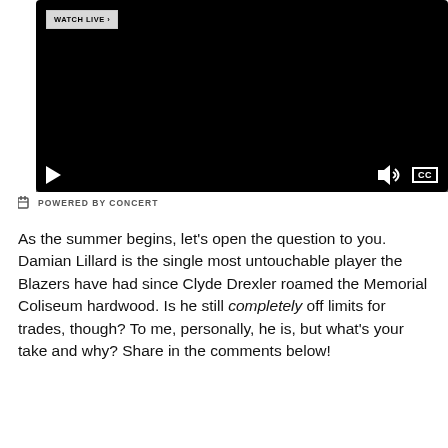[Figure (screenshot): Embedded video player with black background, WATCH LIVE button in top left, play button control bar at bottom with volume and CC icons]
POWERED BY CONCERT
As the summer begins, let's open the question to you. Damian Lillard is the single most untouchable player the Blazers have had since Clyde Drexler roamed the Memorial Coliseum hardwood. Is he still completely off limits for trades, though? To me, personally, he is, but what's your take and why? Share in the comments below!